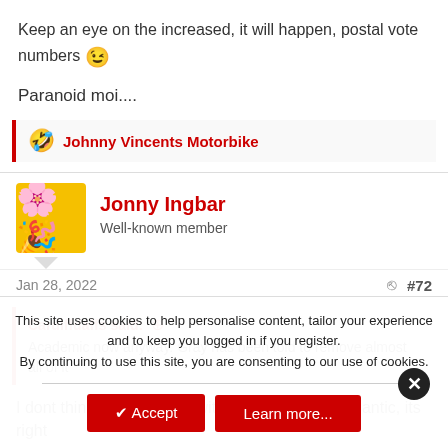Keep an eye on the increased, it will happen, postal vote numbers 😉
Paranoid moi....
🤣 Johnny Vincents Motorbike
Jonny Ingbar
Well-known member
Jan 28, 2022  #72
Cardiffdaffs said: ↑
Academic now anyway. Gray has been told to remove almost all of it
I dont think its academic, without trying to be pedantic, its right
This site uses cookies to help personalise content, tailor your experience and to keep you logged in if you register.
By continuing to use this site, you are consenting to our use of cookies.